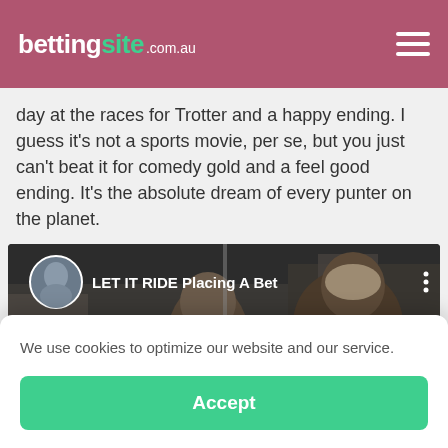bettingsite.com.au
day at the races for Trotter and a happy ending. I guess it's not a sports movie, per se, but you just can't beat it for comedy gold and a feel good ending. It's the absolute dream of every punter on the planet.
[Figure (screenshot): Video thumbnail showing two men in a scene, titled 'LET IT RIDE Placing A Bet']
We use cookies to optimize our website and our service.
Accept